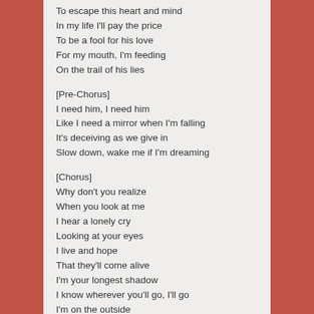To escape this heart and mind
In my life I'll pay the price
To be a fool for his love
For my mouth, I'm feeding
On the trail of his lies
[Pre-Chorus]
I need him, I need him
Like I need a mirror when I'm falling
It's deceiving as we give in
Slow down, wake me if I'm dreaming
[Chorus]
Why don't you realize
When you look at me
I hear a lonely cry
Looking at your eyes
I live and hope
That they'll come alive
I'm your longest shadow
I know wherever you'll go, I'll go
I'm on the outside
Like a lonely cry
[Bridge]